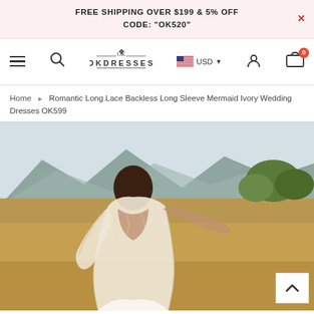FREE SHIPPING OVER $199 & 5% OFF CODE: "OK520"
[Figure (screenshot): OKDresses website navigation bar with hamburger menu, search icon, OKDRESSES logo, USD currency selector with US flag, user account icon, and cart icon showing 0 items]
Home ▶ Romantic Long Lace Backless Long Sleeve Mermaid Ivory Wedding Dresses OK599
[Figure (photo): Bride wearing a romantic long lace backless long sleeve mermaid ivory wedding dress, photographed from behind in an outdoor field with mountains and trees in the background]